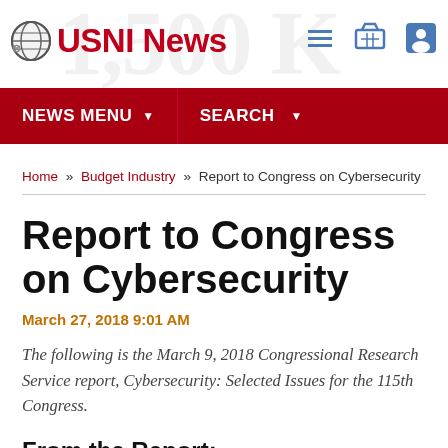USNI News
NEWS MENU   SEARCH
Home » Budget Industry » Report to Congress on Cybersecurity
Report to Congress on Cybersecurity
March 27, 2018 9:01 AM
The following is the March 9, 2018 Congressional Research Service report, Cybersecurity: Selected Issues for the 115th Congress.
From the Report: